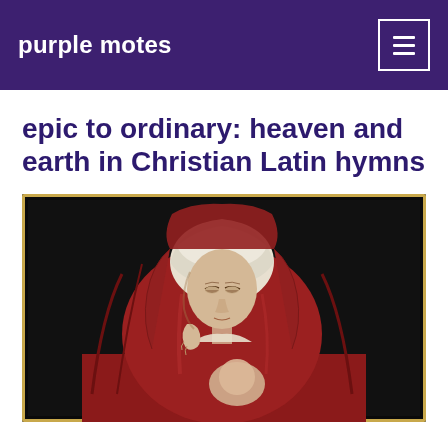purple motes
epic to ordinary: heaven and earth in Christian Latin hymns
[Figure (photo): Painting of the Virgin Mary in red robes with white head covering, eyes downcast, holding an infant, set against a dark background with a golden frame border visible at edges.]